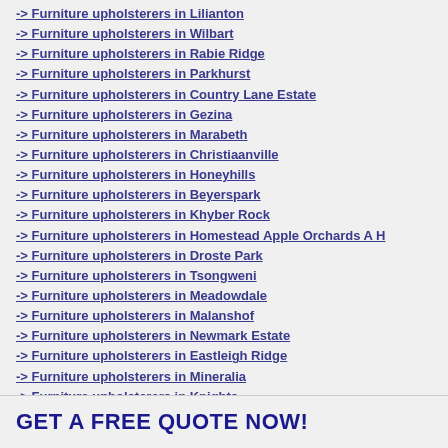-> Furniture upholsterers in Lilianton
-> Furniture upholsterers in Wilbart
-> Furniture upholsterers in Rabie Ridge
-> Furniture upholsterers in Parkhurst
-> Furniture upholsterers in Country Lane Estate
-> Furniture upholsterers in Gezina
-> Furniture upholsterers in Marabeth
-> Furniture upholsterers in Christiaanville
-> Furniture upholsterers in Honeyhills
-> Furniture upholsterers in Beyerspark
-> Furniture upholsterers in Khyber Rock
-> Furniture upholsterers in Homestead Apple Orchards A H
-> Furniture upholsterers in Droste Park
-> Furniture upholsterers in Tsongweni
-> Furniture upholsterers in Meadowdale
-> Furniture upholsterers in Malanshof
-> Furniture upholsterers in Newmark Estate
-> Furniture upholsterers in Eastleigh Ridge
-> Furniture upholsterers in Mineralia
-> Furniture upholsterers in Knights
-> Furniture upholsterers in Raceview
GET A FREE QUOTE NOW!